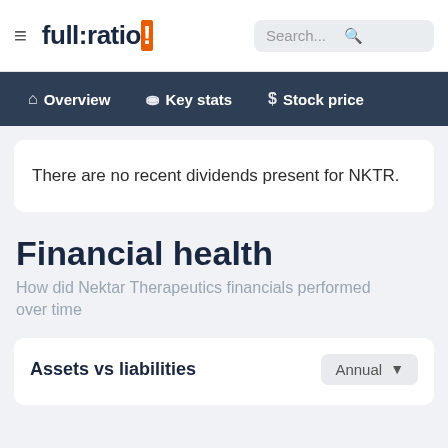full:ratio | Search...
Overview | Key stats | Stock price
There are no recent dividends present for NKTR.
Financial health
How did Nektar Therapeutics financials performed over time
Assets vs liabilities